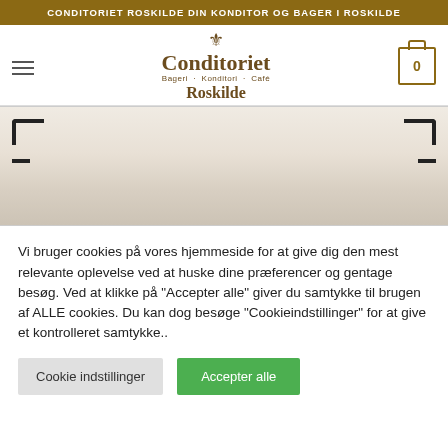CONDITORIET ROSKILDE DIN KONDITOR OG BAGER I ROSKILDE
[Figure (logo): Conditoriet Roskilde logo with crown emblem, text 'Conditoriet Roskilde Bageri - Konditori - Café']
[Figure (photo): Close-up product photo showing a baked item on a tray with corner bracket markers visible]
Vi bruger cookies på vores hjemmeside for at give dig den mest relevante oplevelse ved at huske dine præferencer og gentage besøg. Ved at klikke på "Accepter alle" giver du samtykke til brugen af ALLE cookies. Du kan dog besøge "Cookieindstillinger" for at give et kontrolleret samtykke..
Cookie indstillinger
Accepter alle